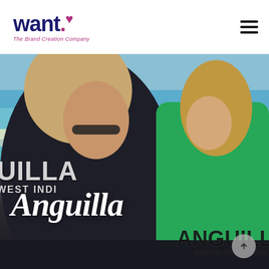[Figure (logo): want. The Brand Creation Company logo — bold dark blue sans-serif 'want.' text with a small pink/purple heart, and italic pink tagline 'The Brand Creation Company']
[Figure (photo): Hero photo of two people viewed from behind wearing Anguilla branded shirts — adult in dark navy shirt reading 'ANGUILLA WEST INDIES' and child in green shirt reading 'ANGUILLA BRITISH WEST INDIES', standing near a pool with turquoise ocean in background. Large white italic serif 'Anguilla' text overlaid on the image.]
Anguilla